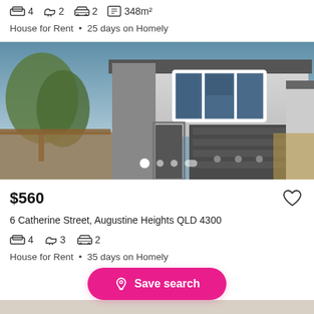4 bedrooms  2 bathrooms  2 car  348m²
House for Rent • 25 days on Homely
[Figure (photo): Exterior photo of a modern two-storey house with white render, large garage door, triple windows on upper floor, trees visible on left side. Image carousel dots visible at bottom.]
$560
6 Catherine Street, Augustine Heights QLD 4300
4 bedrooms  3 bathrooms  2 car
House for Rent • 35 days on Homely
Save search